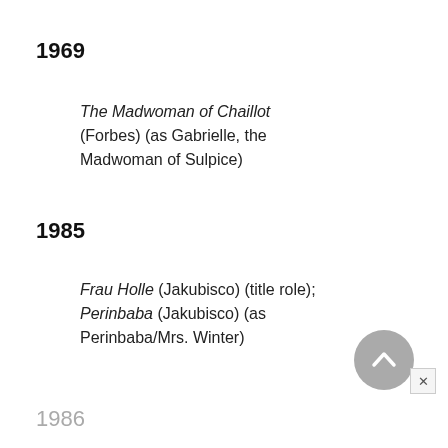1969
The Madwoman of Chaillot (Forbes) (as Gabrielle, the Madwoman of Sulpice)
1985
Frau Holle (Jakubisco) (title role); Perinbaba (Jakubisco) (as Perinbaba/Mrs. Winter)
1986